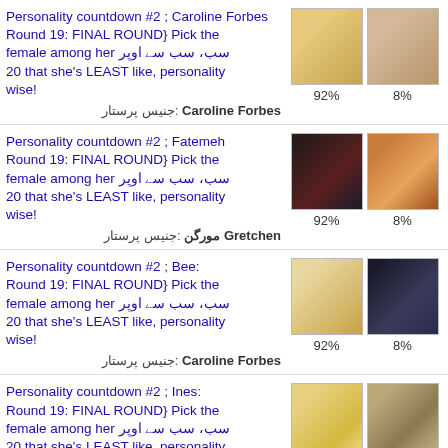Personality countdown #2 ; Caroline Forbes Round 19: FINAL ROUND} Pick the female among her سب سب اوبر سے 20 that she's LEAST like, personality wise!
جنیس پرستار: Caroline Forbes  92%  8%
Personality countdown #2 ; Fatemeh Round 19: FINAL ROUND} Pick the female among her سب سب اوبر سے 20 that she's LEAST like, personality wise!
جنیس پرستار: Gretchen مورگن  92%  8%
Personality countdown #2 ; Bee: Round 19: FINAL ROUND} Pick the female among her سب سب اوبر سے 20 that she's LEAST like, personality wise!
جنیس پرستار: Caroline Forbes  92%  8%
Personality countdown #2 ; Ines: Round 19: FINAL ROUND} Pick the female among her سب سب اوبر سے 20 that she's LEAST like, personality wise!